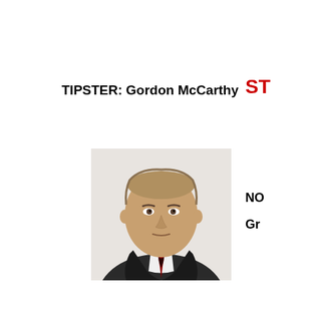TIPSTER: Gordon McCarthy
ST
[Figure (photo): Headshot photo of Gordon McCarthy, a bald man in a dark suit with white shirt and red/black tie, looking directly at camera with neutral expression.]
NO
Gr